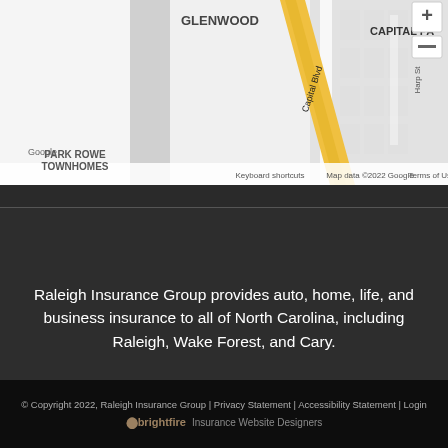[Figure (map): Google Maps screenshot showing area around Park Rowe Townhomes in Raleigh, NC. Labels visible include GLENWOOD, CAPITAL PA(rk), Park Rowe Townhomes, Capital Blvd, Harp St. Map data ©2022 Google. Keyboard shortcuts. Terms of Use. Plus and minus zoom controls visible.]
Raleigh Insurance Group provides auto, home, life, and business insurance to all of North Carolina, including Raleigh, Wake Forest, and Cary.
© Copyright 2022, Raleigh Insurance Group | Privacy Statement | Accessibility Statement | Login
brightfire Insurance Website Designers